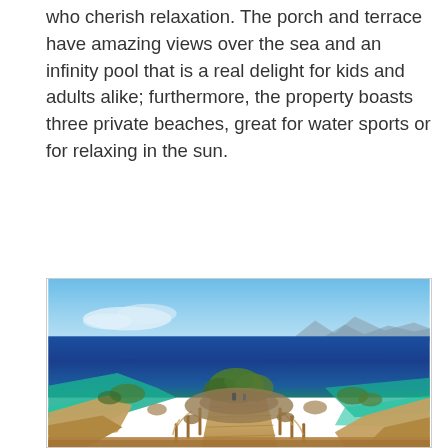who cherish relaxation. The porch and terrace have amazing views over the sea and an infinity pool that is a real delight for kids and adults alike; furthermore, the property boasts three private beaches, great for water sports or for relaxing in the sun.
[Figure (photo): Aerial view of a rocky coastal landscape with stone steps leading down toward the sea, surrounded by Mediterranean shrubs and trees. The sea is a vivid deep blue in the distance with mountains on the horizon, and turquoise-green clear water near the rocky shore.]